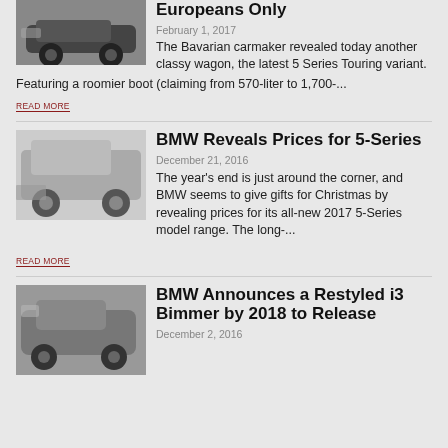[Figure (photo): Grayscale photo of a BMW car (5 Series Touring) on the road, partial view at top of page]
Europeans Only
February 1, 2017
The Bavarian carmaker revealed today another classy wagon, the latest 5 Series Touring variant. Featuring a roomier boot (claiming from 570-liter to 1,700-...
READ MORE
[Figure (photo): Grayscale photo of a BMW 5-Series sedan parked with mountains in background]
BMW Reveals Prices for 5-Series
December 21, 2016
The year's end is just around the corner, and BMW seems to give gifts for Christmas by revealing prices for its all-new 2017 5-Series model range. The long-...
READ MORE
[Figure (photo): Grayscale photo of a BMW i3 electric car on a city street]
BMW Announces a Restyled i3 Bimmer by 2018 to Release
December 2, 2016